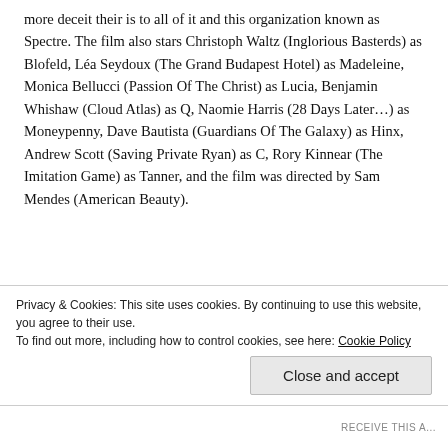more deceit their is to all of it and this organization known as Spectre. The film also stars Christoph Waltz (Inglorious Basterds) as Blofeld, Léa Seydoux (The Grand Budapest Hotel) as Madeleine, Monica Bellucci (Passion Of The Christ) as Lucia, Benjamin Whishaw (Cloud Atlas) as Q, Naomie Harris (28 Days Later…) as Moneypenny, Dave Bautista (Guardians Of The Galaxy) as Hinx, Andrew Scott (Saving Private Ryan) as C, Rory Kinnear (The Imitation Game) as Tanner, and the film was directed by Sam Mendes (American Beauty).
[Figure (photo): A man in a dark suit standing on a rooftop terrace with a European-style ornate building in the background, sepia/golden tone.]
First, I wanted to take the time to list all the things that I didn't like about the film and one big one is the theme
Privacy & Cookies: This site uses cookies. By continuing to use this website, you agree to their use. To find out more, including how to control cookies, see here: Cookie Policy